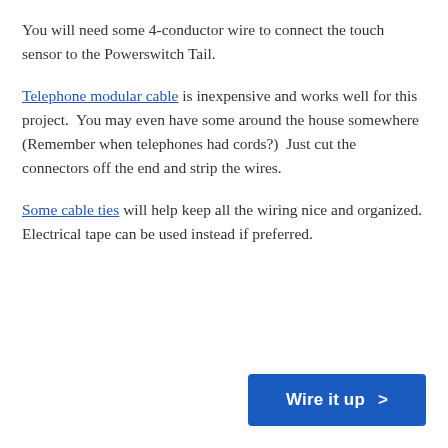You will need some 4-conductor wire to connect the touch sensor to the Powerswitch Tail.
Telephone modular cable is inexpensive and works well for this project.  You may even have some around the house somewhere (Remember when telephones had cords?)  Just cut the connectors off the end and strip the wires.
Some cable ties will help keep all the wiring nice and organized.  Electrical tape can be used instead if preferred.
Wire it up >